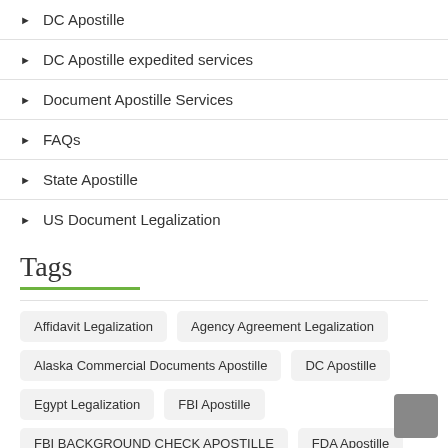DC Apostille
DC Apostille expedited services
Document Apostille Services
FAQs
State Apostille
US Document Legalization
Tags
Affidavit Legalization
Agency Agreement Legalization
Alaska Commercial Documents Apostille
DC Apostille
Egypt Legalization
FBI Apostille
FBI BACKGROUND CHECK APOSTILLE
FDA Apostille